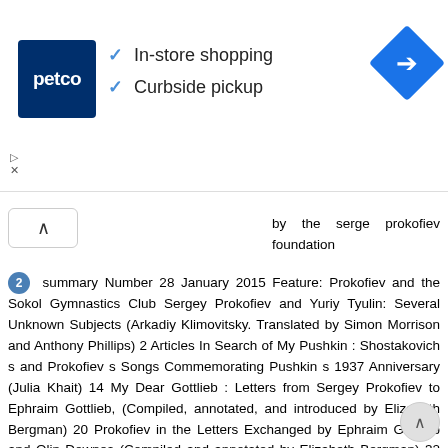[Figure (screenshot): Petco advertisement banner showing logo, checkmarks for In-store shopping and Curbside pickup, and a blue navigation/directions icon]
by the serge prokofiev foundation
2 summary Number 28 January 2015 Feature: Prokofiev and the Sokol Gymnastics Club Sergey Prokofiev and Yuriy Tyulin: Several Unknown Subjects (Arkadiy Klimovitsky. Translated by Simon Morrison and Anthony Phillips) 2 Articles In Search of My Pushkin : Shostakovich s and Prokofiev s Songs Commemorating Pushkin s 1937 Anniversary (Julia Khait) 14 My Dear Gottlieb : Letters from Sergey Prokofiev to Ephraim Gottlieb, (Compiled, annotated, and introduced by Elizabeth Bergman) 20 Prokofiev in the Letters Exchanged by Ephraim Gottlieb and Olin Downes (Compiled and annotated by Elizabeth Bergman) 32 Reviews Kevin Bartig